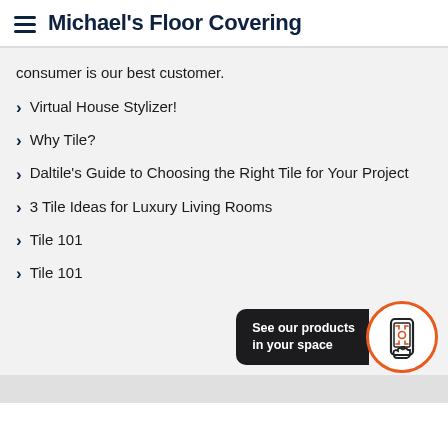Michael's Floor Covering
consumer is our best customer.
Virtual House Stylizer!
Why Tile?
Daltile's Guide to Choosing the Right Tile for Your Project
3 Tile Ideas for Luxury Living Rooms
Tile 101
Tile 101
[Figure (infographic): CTA widget with dark background label 'See our products in your space' and a circular orange-bordered icon showing a phone with AR target symbol.]